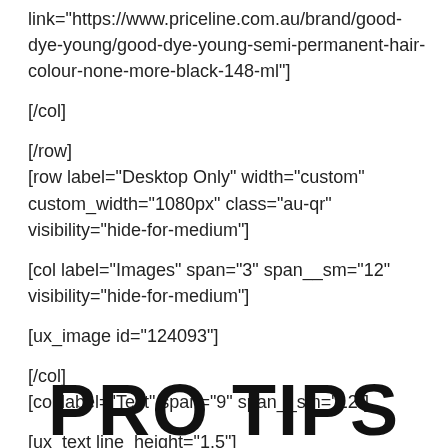link="https://www.priceline.com.au/brand/good-dye-young/good-dye-young-semi-permanent-hair-colour-none-more-black-148-ml"]
[/col]
[/row]
[row label="Desktop Only" width="custom" custom_width="1080px" class="au-qr" visibility="hide-for-medium"]
[col label="Images" span="3" span__sm="12" visibility="hide-for-medium"]
[ux_image id="124093"]
[/col]
[col label="Text" span="9" span__sm="12"]
[ux_text line_height="1.5"]
PRO TIPS